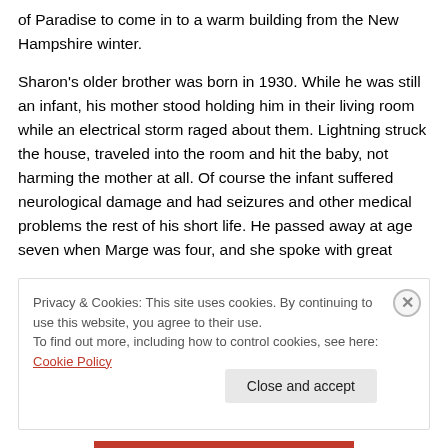of Paradise to come in to a warm building from the New Hampshire winter.
Sharon's older brother was born in 1930. While he was still an infant, his mother stood holding him in their living room while an electrical storm raged about them. Lightning struck the house, traveled into the room and hit the baby, not harming the mother at all. Of course the infant suffered neurological damage and had seizures and other medical problems the rest of his short life. He passed away at age seven when Marge was four, and she spoke with great
Privacy & Cookies: This site uses cookies. By continuing to use this website, you agree to their use. To find out more, including how to control cookies, see here: Cookie Policy
Close and accept